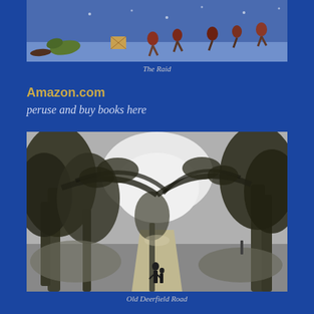[Figure (illustration): A colorful painting depicting a winter raid scene with soldiers/warriors on a snowy blue background, animals and people in motion, appearing chaotic and violent.]
The Raid
Amazon.com
peruse and buy books here
[Figure (photo): A black and white historical photograph of Old Deerfield Road showing a tree-lined path with large overhanging trees creating a canopy, and two small figures (adult and child) standing in the distance on the road.]
Old Deerfield Road